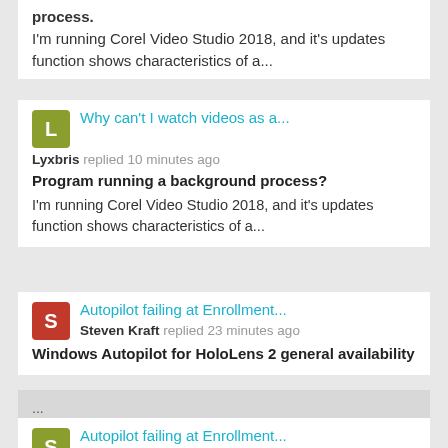process.
I'm running Corel Video Studio 2018, and it's updates function shows characteristics of a...
Why can't I watch videos as a...
Lyxbris replied 10 minutes ago
Program running a background process?
I'm running Corel Video Studio 2018, and it's updates function shows characteristics of a...
Autopilot failing at Enrollment...
Steven Kraft replied 23 minutes ago
Windows Autopilot for HoloLens 2 general availability
...
Autopilot failing at Enrollment...
Steven Kraft replied 20 minutes ago